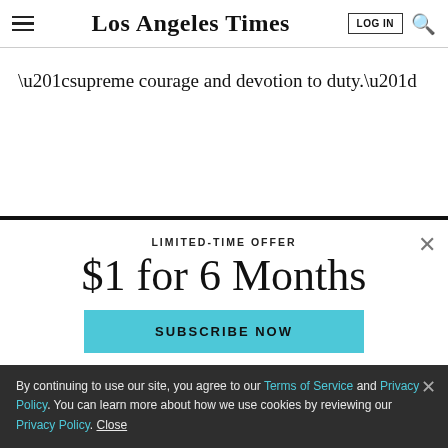Los Angeles Times
“supreme courage and devotion to duty.”
LIMITED-TIME OFFER
$1 for 6 Months
SUBSCRIBE NOW
By continuing to use our site, you agree to our Terms of Service and Privacy Policy. You can learn more about how we use cookies by reviewing our Privacy Policy. Close